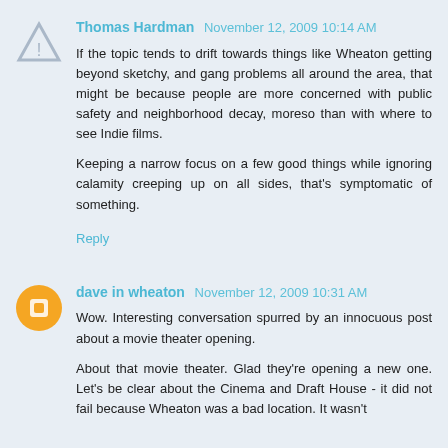Thomas Hardman  November 12, 2009 10:14 AM
If the topic tends to drift towards things like Wheaton getting beyond sketchy, and gang problems all around the area, that might be because people are more concerned with public safety and neighborhood decay, moreso than with where to see Indie films.

Keeping a narrow focus on a few good things while ignoring calamity creeping up on all sides, that's symptomatic of something.
Reply
dave in wheaton  November 12, 2009 10:31 AM
Wow. Interesting conversation spurred by an innocuous post about a movie theater opening.

About that movie theater. Glad they're opening a new one. Let's be clear about the Cinema and Draft House - it did not fail because Wheaton was a bad location. It wasn't